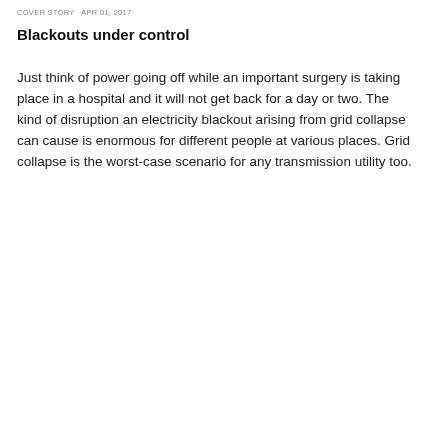COVER STORY  APR 01, 2017
Blackouts under control
Just think of power going off while an important surgery is taking place in a hospital and it will not get back for a day or two. The kind of disruption an electricity blackout arising from grid collapse can cause is enormous for different people at various places. Grid collapse is the worst-case scenario for any transmission utility too.